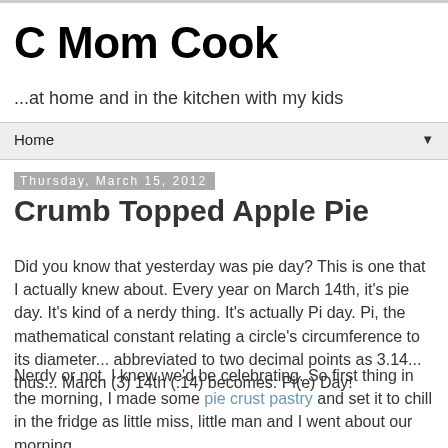C Mom Cook
...at home and in the kitchen with my kids
Home ▼
Thursday, March 15, 2012
Crumb Topped Apple Pie
Did you know that yesterday was pie day? This is one that I actually knew about. Every year on March 14th, it's pie day. It's kind of a nerdy thing. It's actually Pi day. Pi, the mathematical constant relating a circle's circumference to its diameter... abbreviated to two decimal points as 3.14... thus... March (3) 14th (.14) becomes: Pi(e) Day!
Nerdy or not, I knew we'd be celebrating. So first thing in the morning, I made some pie crust pastry and set it to chill in the fridge as little miss, little man and I went about our morning.